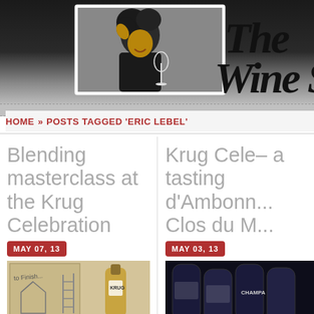[Figure (photo): Website header with photo of a woman with curly hair holding a champagne glass, laughing, against a decorative wallpaper background. To the right is handwritten-style text reading 'The Wine S...' (partially cropped).]
HOME > POSTS TAGGED 'ERIC LEBEL'
Blending masterclass at the Krug Celebration
Krug Cele... – a tasting d'Ambonn... Clos du M...
MAY 07, 13
MAY 03, 13
[Figure (photo): Thumbnail image showing a chalk drawing/sketch with text 'to Finish...' and a Krug wine bottle with a ladder drawing.]
[Figure (photo): Thumbnail image showing dark Champagne bottles stacked, partial label visible reading 'CHAMPA'.]